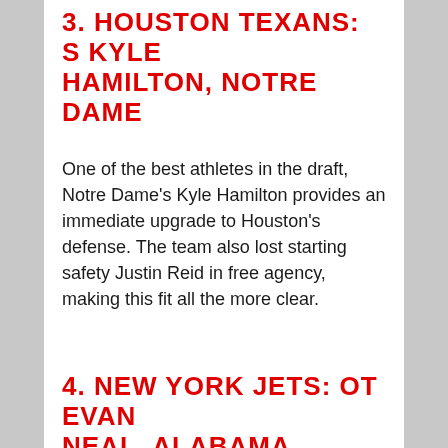3. HOUSTON TEXANS: S KYLE HAMILTON, NOTRE DAME
One of the best athletes in the draft, Notre Dame's Kyle Hamilton provides an immediate upgrade to Houston's defense. The team also lost starting safety Justin Reid in free agency, making this fit all the more clear.
4. NEW YORK JETS: OT EVAN NEAL, ALABAMA
My former first overall pick, Evan Neal is a polished offensive tackle with exceptional